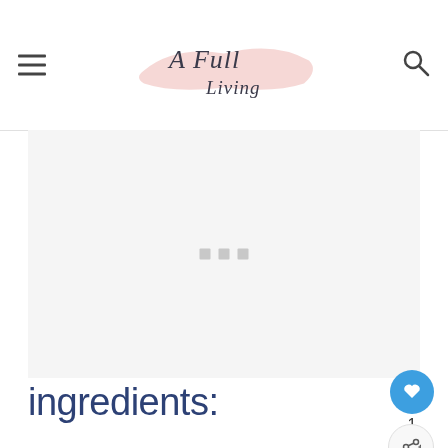A Full Living
[Figure (other): Gray advertisement placeholder box with three small gray dots in the center]
ingredients: